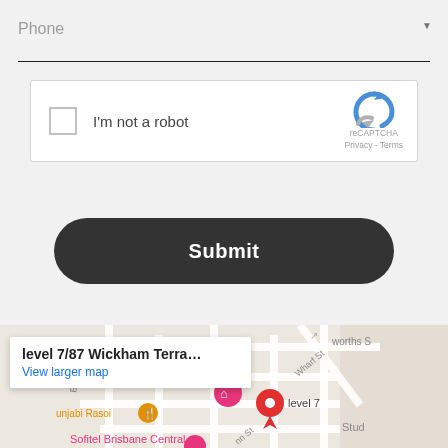Phone
[Figure (screenshot): reCAPTCHA widget with checkbox labeled 'I'm not a robot']
Submit
[Figure (map): Google Maps showing level 7/87 Wickham Terrace Brisbane area with street map, popup showing address, and location pin marker]